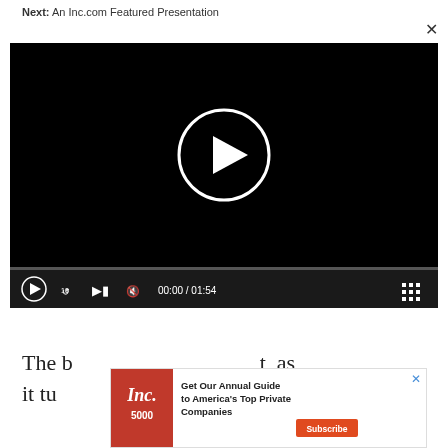Next: An Inc.com Featured Presentation
[Figure (screenshot): Video player with black background showing a white play button circle in the center, a progress bar, and playback controls including play, rewind-10, skip, mute, time display 00:00 / 01:54, and grid icon.]
The b... t, as it tu...
[Figure (screenshot): Inc. magazine advertisement banner with red cover showing '5000', headline 'Get Our Annual Guide to America's Top Private Companies', orange Subscribe button, and blue X close button.]